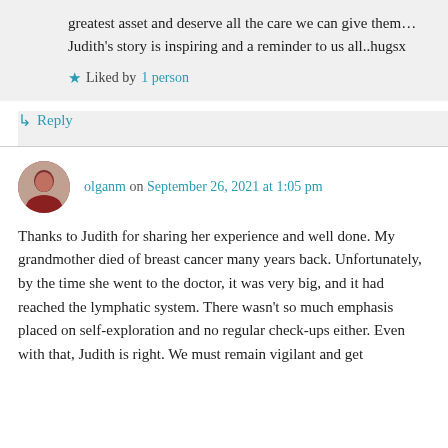greatest asset and deserve all the care we can give them…Judith's story is inspiring and a reminder to us all..hugsx
Liked by 1 person
Reply
olganm on September 26, 2021 at 1:05 pm
Thanks to Judith for sharing her experience and well done. My grandmother died of breast cancer many years back. Unfortunately, by the time she went to the doctor, it was very big, and it had reached the lymphatic system. There wasn't so much emphasis placed on self-exploration and no regular check-ups either. Even with that, Judith is right. We must remain vigilant and get